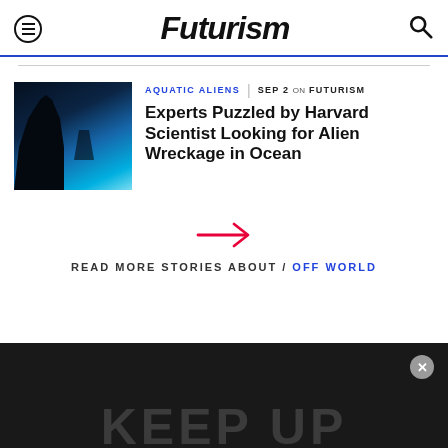Futurism
[Figure (photo): Dark underwater scene with silhouetted coral or plant forms against bright blue-lit water]
AQUATIC ALIENS | SEP 2 on FUTURISM
Experts Puzzled by Harvard Scientist Looking for Alien Wreckage in Ocean
[Figure (other): Red right-pointing arrow]
READ MORE STORIES ABOUT / OFF WORLD
KEEP UP